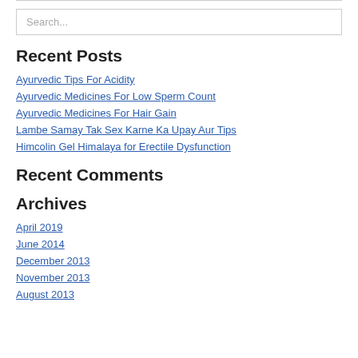Search...
Recent Posts
Ayurvedic Tips For Acidity
Ayurvedic Medicines For Low Sperm Count
Ayurvedic Medicines For Hair Gain
Lambe Samay Tak Sex Karne Ka Upay Aur Tips
Himcolin Gel Himalaya for Erectile Dysfunction
Recent Comments
Archives
April 2019
June 2014
December 2013
November 2013
August 2013